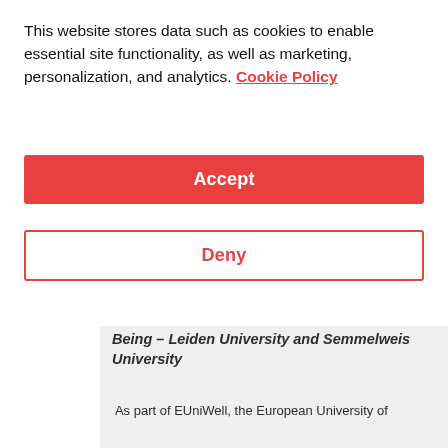This website stores data such as cookies to enable essential site functionality, as well as marketing, personalization, and analytics. Cookie Policy
Accept
Deny
Being – Leiden University and Semmelweis University
As part of EUniWell, the European University of Well-Being collaborative project, Leiden University, and Semmelweis University will host an online symposium to share the good practices which will help students improve their well-being. Not only is this a great learning opportunity, but also a chance to network and